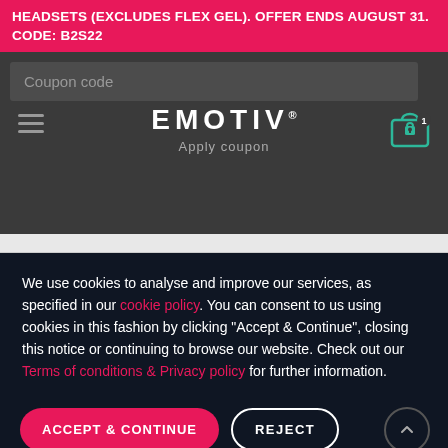HEADSETS (EXCLUDES FLEX GEL). OFFER ENDS AUGUST 31. CODE: B2S22
[Figure (screenshot): Emotiv website navigation bar with coupon code input field, hamburger menu icon, EMOTIV logo with registered mark, Apply coupon text, and cart icon with item count badge]
We use cookies to analyse and improve our services, as specified in our cookie policy. You can consent to us using cookies in this fashion by clicking "Accept & Continue", closing this notice or continuing to browse our website. Check out our Terms of conditions & Privacy policy for further information.
ACCEPT & CONTINUE | REJECT